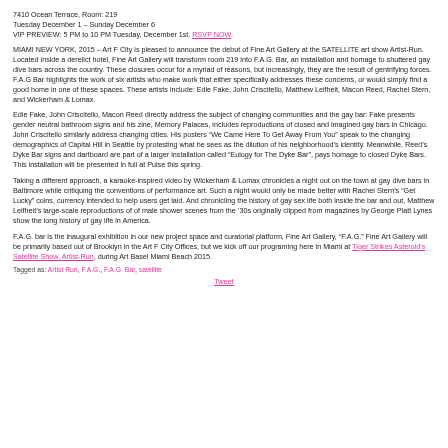7410 Ocean Terrace, Room: 219
Tuesday December 1 – Sunday December 6
VIP PREVIEW: 5 PM to 10 PM Tuesday, December 1st. RSVP NOW.
MIAMI NEW YORK, 2015 – Art F City is pleased to announce the debut of Fine Art Gallery at the SATELLITE art show Artist-Run. Located inside a derelict hotel, Fine Art Gallery will transform room 219 into F.A.G. Bar, an installation and homage to shuttered gay dive bars across the country. These closures occur for a myriad of reasons, but increasingly, they are the result of gentrifying forces. F.A.G Bar highlights the work of six artists who make work that either specifically addresses these concerns, or would simply find a good home in one of these spaces. These artists include: Edie Fake, John Criscitello, Matthew Leifheit, Macon Reed, Rachel Stern, and Wickerham & Lomax.
Edie Fake, John Criscitello, Macon Reed directly address the subject of changing communities and the gay bar: Fake presents gender neutral bathroom signs and his zine, Memory Palaces, includes reproductions of closed and imagined gay bars in Chicago. John Criscitello similarly address changing cities. His posters "We Came Here To Get Away From You" speak to the changing demographics of Capital Hill in Seattle by protesting what he sees as the dilution of his neighborhood's identity. Meanwhile, Reed's Dyke Bar signs and dartboard are part of a larger installation called "Eulogy for The Dyke Bar", pays homage to closed Dyke Bars. This installation will be presented in full at Pulse this spring.
Taking a different approach, a karaoke-inspired video by Wickerham & Lomax chronicles a night out on the town at gay dive bars in Baltimore while critiquing the conventions of performance art. Such a night would only be made better with Rachel Stern's "Get Lucky" coins, currency intended to help users get laid. And chronicling the history of gay sex life both inside the bar and out, Matthew Leifheit's large-scale reproductions of of male shower scenes from the '30s originally clipped from magazines by George Platt Lynes show the long history of gay life in America.
F.A.G. bar is the inaugural exhibition in our new project space and curatorial platform, Fine Art Gallery, "F.A.G." Fine Art Gallery will be primarily based out of Brooklyn in the Art F City Offices, but we kick off our programing here in Miami at Tiger Strikes Asteroid's Satellite Show, Artist-Run, during Art Basel Miami Beach 2015.
Tagged as: Artist Run, F.A.G., F.A.G. Bar, satellite
Tweet